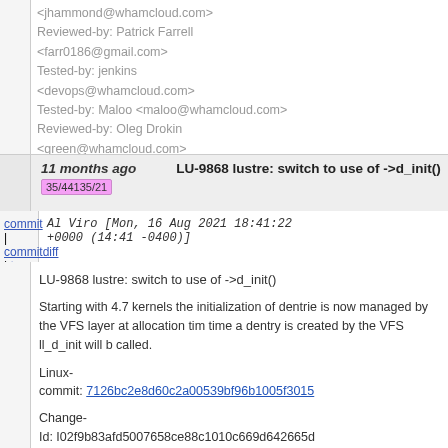<jhammond@whamcloud.com>
Reviewed-by: Patrick Farrell <farr0186@gmail.com>
Tested-by: jenkins <devops@whamcloud.com>
Tested-by: Maloo <maloo@whamcloud.com>
Reviewed-by: Oleg Drokin <green@whamcloud.com>
11 months ago   LU-9868 lustre: switch to use of ->d_init()
35/44135/21
commit | commitdiff | tree   Al Viro [Mon, 16 Aug 2021 18:41:22 +0000 (14:41 -0400)]
LU-9868 lustre: switch to use of ->d_init()

Starting with 4.7 kernels the initialization of dentries is now managed by the VFS layer at allocation time a dentry is created by the VFS ll_d_init will be called.

Linux-commit: 7126bc2e8d60c2a00539bf96b1005f3015

Change-Id: I02f9b83afd5007658ce88c1010c669d642665d
Signed-off-by: Al Viro <viro@zeniv.linux.org.uk>
Signed-off-by: James Simmons <jsimmons@infradead.org>